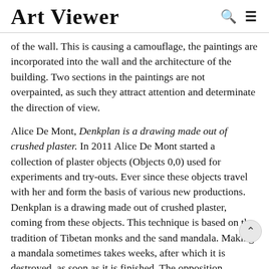Art Viewer
of the wall. This is causing a camouflage, the paintings are incorporated into the wall and the architecture of the building. Two sections in the paintings are not overpainted, as such they attract attention and determinate the direction of view.
Alice De Mont, Denkplan is a drawing made out of crushed plaster. In 2011 Alice De Mont started a collection of plaster objects (Objects 0,0) used for experiments and try-outs. Ever since these objects travel with her and form the basis of various new productions. Denkplan is a drawing made out of crushed plaster, coming from these objects. This technique is based on the tradition of Tibetan monks and the sand mandala. Making a mandala sometimes takes weeks, after which it is destroyed, as soon as it is finished. The opposition between its swift destruction and intense production